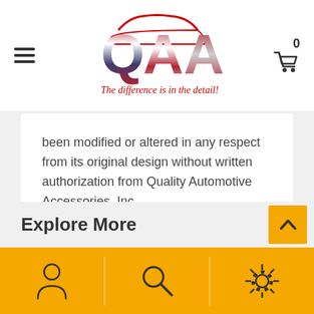[Figure (logo): QAA logo with American flag design and text 'The difference is in the detail!']
been modified or altered in any respect from its original design without written authorization from Quality Automotive Accessories, Inc.
For ALL warranty claims please contact QAA directly at: (800) 343-8329.
Explore More